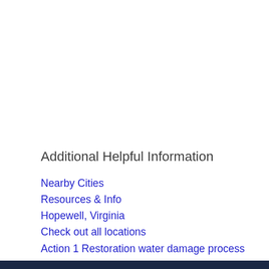Additional Helpful Information
Nearby Cities
Resources & Info
Hopewell, Virginia
Check out all locations
Action 1 Restoration water damage process
Class of water damage